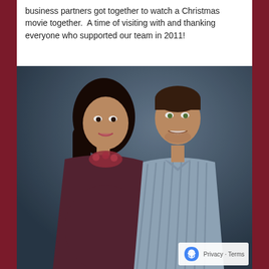business partners got together to watch a Christmas movie together.  A time of visiting with and thanking everyone who supported our team in 2011!
[Figure (photo): A couple posing for a photo — a pregnant woman with long dark hair wearing a dark maroon dress and floral necklace, and a man in a light blue striped shirt, smiling, in front of a dark blue/grey backdrop.]